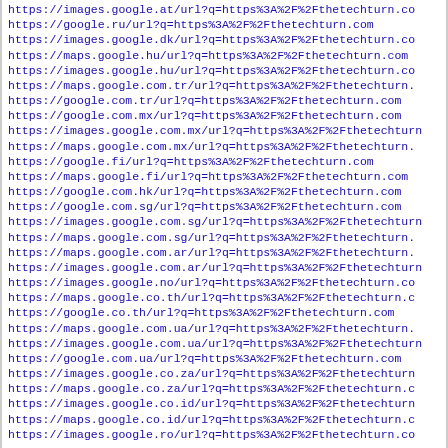https://images.google.at/url?q=https%3A%2F%2Fthetechturn.co
https://google.ru/url?q=https%3A%2F%2Fthetechturn.com
https://images.google.dk/url?q=https%3A%2F%2Fthetechturn.co
https://maps.google.hu/url?q=https%3A%2F%2Fthetechturn.com
https://images.google.hu/url?q=https%3A%2F%2Fthetechturn.co
https://maps.google.com.tr/url?q=https%3A%2F%2Fthetechturn.
https://google.com.tr/url?q=https%3A%2F%2Fthetechturn.com
https://google.com.mx/url?q=https%3A%2F%2Fthetechturn.com
https://images.google.com.mx/url?q=https%3A%2F%2Fthetechturn
https://maps.google.com.mx/url?q=https%3A%2F%2Fthetechturn.
https://google.fi/url?q=https%3A%2F%2Fthetechturn.com
https://maps.google.fi/url?q=https%3A%2F%2Fthetechturn.com
https://google.com.hk/url?q=https%3A%2F%2Fthetechturn.com
https://google.com.sg/url?q=https%3A%2F%2Fthetechturn.com
https://images.google.com.sg/url?q=https%3A%2F%2Fthetechturn
https://maps.google.com.sg/url?q=https%3A%2F%2Fthetechturn.
https://maps.google.com.ar/url?q=https%3A%2F%2Fthetechturn.
https://images.google.com.ar/url?q=https%3A%2F%2Fthetechturn
https://images.google.no/url?q=https%3A%2F%2Fthetechturn.co
https://maps.google.co.th/url?q=https%3A%2F%2Fthetechturn.c
https://google.co.th/url?q=https%3A%2F%2Fthetechturn.com
https://maps.google.com.ua/url?q=https%3A%2F%2Fthetechturn.
https://images.google.com.ua/url?q=https%3A%2F%2Fthetechturn
https://google.com.ua/url?q=https%3A%2F%2Fthetechturn.com
https://images.google.co.za/url?q=https%3A%2F%2Fthetechturn
https://maps.google.co.za/url?q=https%3A%2F%2Fthetechturn.c
https://images.google.co.id/url?q=https%3A%2F%2Fthetechturn
https://maps.google.co.id/url?q=https%3A%2F%2Fthetechturn.c
https://images.google.ro/url?q=https%3A%2F%2Fthetechturn.co